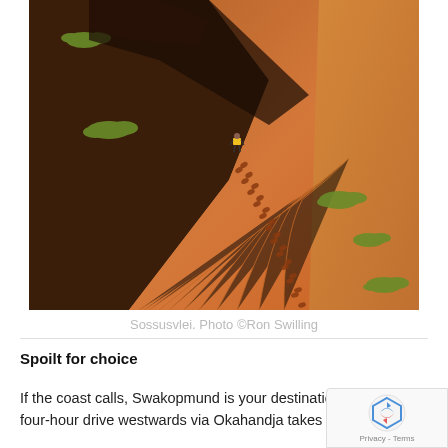[Figure (photo): Aerial/overhead view of red sand dunes at Sossusvlei, Namibia. Footprints trail up the ridge of a large orange-red dune. A small human figure with a yellow backpack is visible at the top of the dune. Green desert scrub vegetation appears in patches along the dark shadowed areas.]
Sossusvlei. Photo ©Ron Swilling
Spoilt for choice
If the coast calls, Swakopmund is your destination. A short four-hour drive westwards via Okahandja takes you